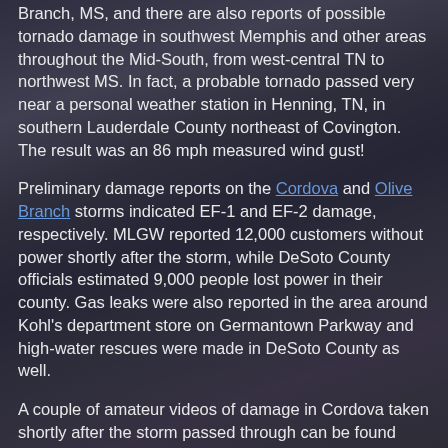Branch, MS, and there are also reports of possible tornado damage in southwest Memphis and other areas throughout the Mid-South, from west-central TN to northwest MS. In fact, a probable tornado passed very near a personal weather station in Henning, TN, in southern Lauderdale County northeast of Covington. The result was an 86 mph measured wind gust!
Preliminary damage reports on the Cordova and Olive Branch storms indicated EF-1 and EF-2 damage, respectively. MLGW reported 12,000 customers without power shortly after the storm, while DeSoto County officials estimated 9,000 people lost power in their county. Gas leaks were also reported in the area around Kohl's department store on Germantown Parkway and high-water rescues were made in DeSoto County as well.
A couple of amateur videos of damage in Cordova taken shortly after the storm passed through can be found here: video 1 and video 2. Scott Merrill (MidSouth PC Repair) of College Park subdivision took an excellent amateur video of the Olive Branch tornado as it approached his subdivision